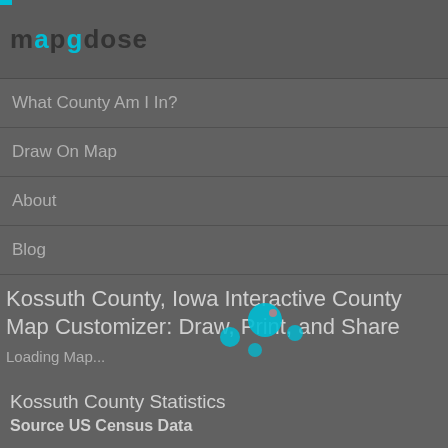mapgdose
What County Am I In?
Draw On Map
About
Blog
Kossuth County, Iowa Interactive County Map Customizer: Draw, Print, and Share
Loading Map...
Kossuth County Statistics
Source US Census Data
Privacy    Terms of Service